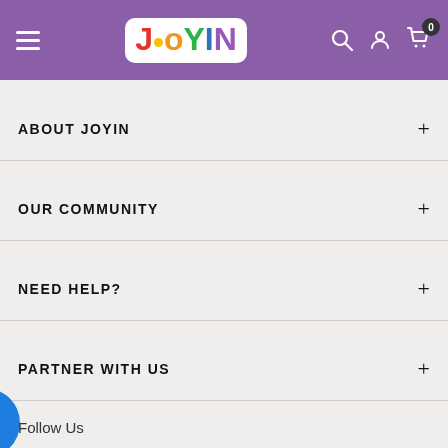JOYIN header with navigation menu, logo, search, account, and cart icons
ABOUT JOYIN
OUR COMMUNITY
NEED HELP?
PARTNER WITH US
Follow Us